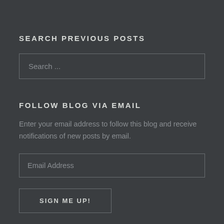SEARCH PREVIOUS POSTS
[Figure (screenshot): Search input box with placeholder text 'Search ...']
FOLLOW BLOG VIA EMAIL
Enter your email address to follow this blog and receive notifications of new posts by email.
[Figure (screenshot): Email address input box with placeholder text 'Email Address']
SIGN ME UP!